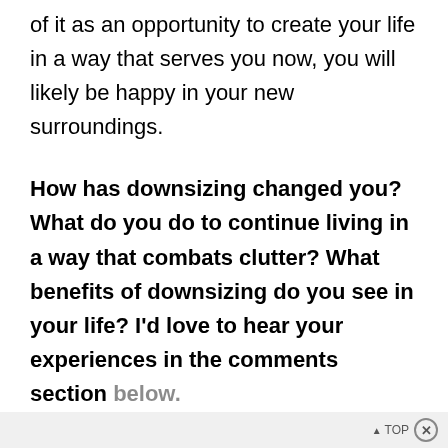of it as an opportunity to create your life in a way that serves you now, you will likely be happy in your new surroundings.
How has downsizing changed you? What do you do to continue living in a way that combats clutter? What benefits of downsizing do you see in your life? I'd love to hear your experiences in the comments section below.
▲ TOP ✕